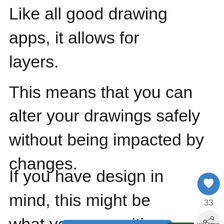Like all good drawing apps, it allows for layers.
This means that you can alter your drawings safely without being impacted by changes.
If you have design in mind, this might be what you are waiting for.
[Figure (other): Blue 'Get the App' button]
[Figure (other): Side UI panel with heart icon showing 33 likes and share button]
[Figure (other): What's Next panel with thumbnail and '581+ Free Procreate...' text]
Tayasui Sketches